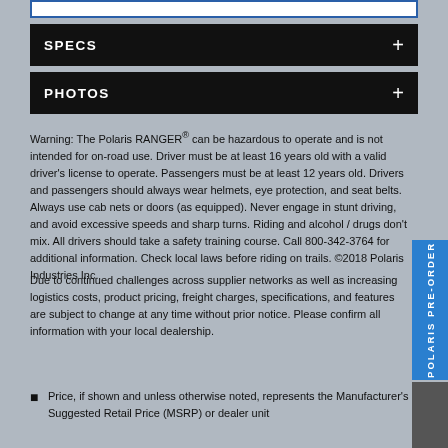SPECS +
PHOTOS +
Warning: The Polaris RANGER® can be hazardous to operate and is not intended for on-road use. Driver must be at least 16 years old with a valid driver's license to operate. Passengers must be at least 12 years old. Drivers and passengers should always wear helmets, eye protection, and seat belts. Always use cab nets or doors (as equipped). Never engage in stunt driving, and avoid excessive speeds and sharp turns. Riding and alcohol / drugs don't mix. All drivers should take a safety training course. Call 800-342-3764 for additional information. Check local laws before riding on trails. ©2018 Polaris Industries Inc.
Due to continued challenges across supplier networks as well as increasing logistics costs, product pricing, freight charges, specifications, and features are subject to change at any time without prior notice. Please confirm all information with your local dealership.
Price, if shown and unless otherwise noted, represents the Manufacturer's Suggested Retail Price (MSRP) or dealer unit